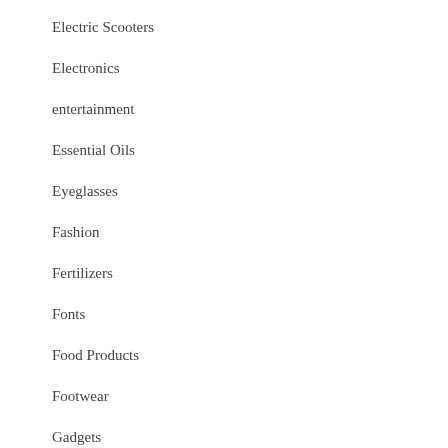Electric Scooters
Electronics
entertainment
Essential Oils
Eyeglasses
Fashion
Fertilizers
Fonts
Food Products
Footwear
Gadgets